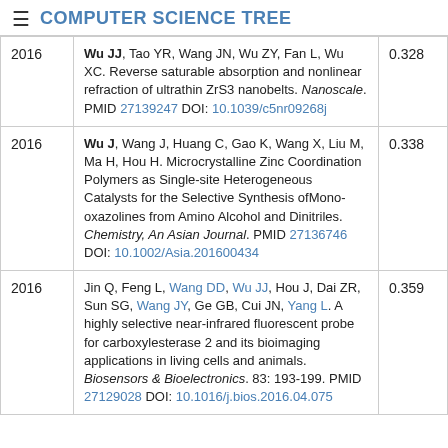≡ COMPUTER SCIENCE TREE
| Year | Reference | Score |
| --- | --- | --- |
| 2016 | Wu JJ, Tao YR, Wang JN, Wu ZY, Fan L, Wu XC. Reverse saturable absorption and nonlinear refraction of ultrathin ZrS3 nanobelts. Nanoscale. PMID 27139247 DOI: 10.1039/c5nr09268j | 0.328 |
| 2016 | Wu J, Wang J, Huang C, Gao K, Wang X, Liu M, Ma H, Hou H. Microcrystalline Zinc Coordination Polymers as Single-site Heterogeneous Catalysts for the Selective Synthesis ofMono-oxazolines from Amino Alcohol and Dinitriles. Chemistry, An Asian Journal. PMID 27136746 DOI: 10.1002/Asia.201600434 | 0.338 |
| 2016 | Jin Q, Feng L, Wang DD, Wu JJ, Hou J, Dai ZR, Sun SG, Wang JY, Ge GB, Cui JN, Yang L. A highly selective near-infrared fluorescent probe for carboxylesterase 2 and its bioimaging applications in living cells and animals. Biosensors & Bioelectronics. 83: 193-199. PMID 27129028 DOI: 10.1016/j.bios.2016.04.075 | 0.359 |